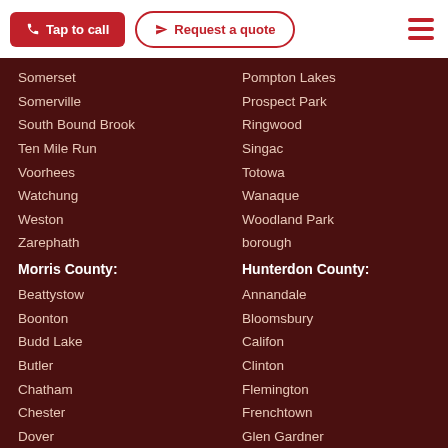Tap to call | Request a quote
Somerset
Somerville
South Bound Brook
Ten Mile Run
Voorhees
Watchung
Weston
Zarephath
Morris County:
Beattystow
Boonton
Budd Lake
Butler
Chatham
Chester
Dover
Florham Park
Kenvil
Kinnelon
Pompton Lakes
Prospect Park
Ringwood
Singac
Totowa
Wanaque
Woodland Park borough
Hunterdon County:
Annandale
Bloomsbury
Califon
Clinton
Flemington
Frenchtown
Glen Gardner
Hampton
High Bridge
Lambertville
Lebanon